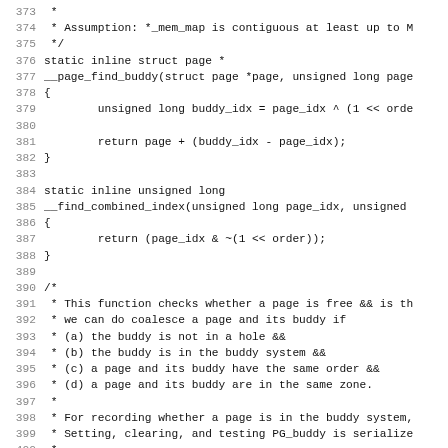[Figure (screenshot): Source code listing showing C functions __page_find_buddy and __find_combined_index, and a comment block for page_is_buddy, with line numbers 373-405]